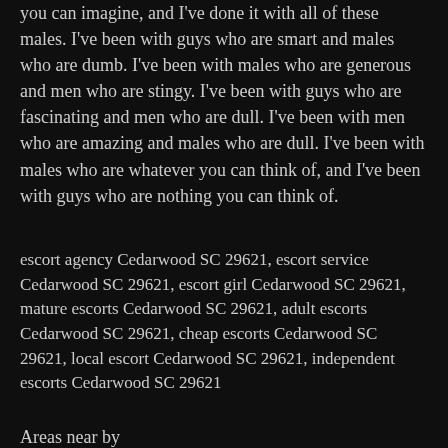you can imagine, and I've done it with all of these males. I've been with guys who are smart and males who are dumb. I've been with males who are generous and men who are stingy. I've been with guys who are fascinating and men who are dull. I've been with men who are amazing and males who are dull. I've been with males who are whatever you can think of, and I've been with guys who are nothing you can think of.
escort agency Cedarwood SC 29621, escort service Cedarwood SC 29621, escort girl Cedarwood SC 29621, mature escorts Cedarwood SC 29621, adult escorts Cedarwood SC 29621, cheap escorts Cedarwood SC 29621, local escort Cedarwood SC 29621, independent escorts Cedarwood SC 29621
Areas near by